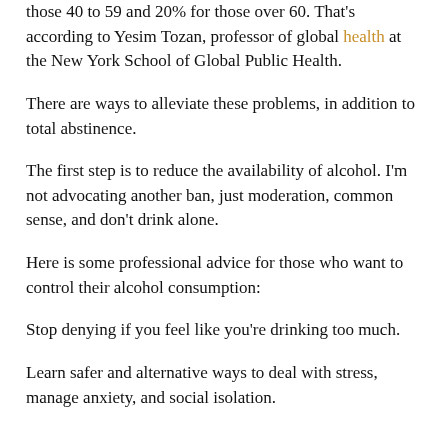consumption during the pandemic. This compares to 34% for those 40 to 59 and 20% for those over 60. That’s according to Yesim Tozan, professor of global health at the New York School of Global Public Health.
There are ways to alleviate these problems, in addition to total abstinence.
The first step is to reduce the availability of alcohol. I’m not advocating another ban, just moderation, common sense, and don’t drink alone.
Here is some professional advice for those who want to control their alcohol consumption:
Stop denying if you feel like you’re drinking too much.
Learn safer and alternative ways to deal with stress, manage anxiety, and social isolation.